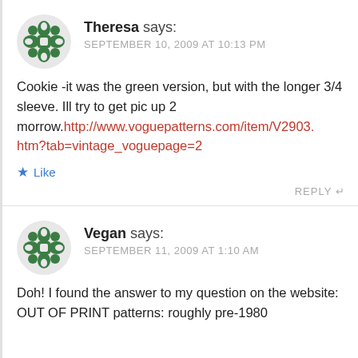Theresa says: SEPTEMBER 10, 2009 AT 10:13 PM
Cookie -it was the green version, but with the longer 3/4 sleeve. Ill try to get pic up 2 morrow.http://www.voguepatterns.com/item/V2903.htm?tab=vintage_voguepage=2
★ Like
REPLY ↩
Vegan says: SEPTEMBER 11, 2009 AT 1:10 AM
Doh! I found the answer to my question on the website: OUT OF PRINT patterns: roughly pre-1980